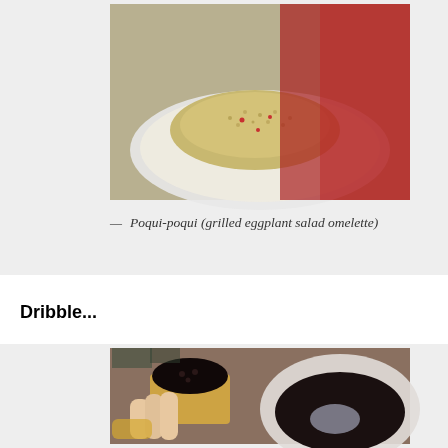[Figure (photo): A plate of poqui-poqui grilled eggplant salad omelette on a white plate with red cloth background]
— Poqui-poqui (grilled eggplant salad omelette)
Dribble...
[Figure (photo): A hand holding a cracker topped with dark black bean or ant egg mixture, with a bowl of the dark mixture and a spoon visible in the background]